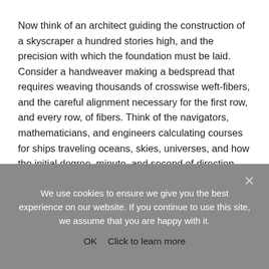Now think of an architect guiding the construction of a skyscraper a hundred stories high, and the precision with which the foundation must be laid. Consider a handweaver making a bedspread that requires weaving thousands of crosswise weft-fibers, and the careful alignment necessary for the first row, and every row, of fibers. Think of the navigators, mathematicians, and engineers calculating courses for ships traveling oceans, skies, universes, and how the initial degree, minute, and second of direction must be absolutely precise, and then checked and corrected constantly to ensure the ship reaches the intended destination. The tiniest bit of
We use cookies to ensure we give you the best experience on our website. If you continue to use this site, we assume that you are happy with it.
OK   Click to learn more